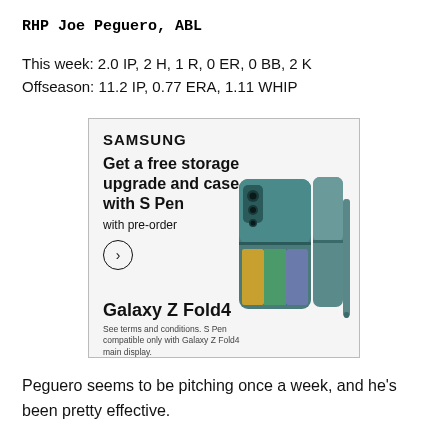RHP Joe Peguero, ABL
This week: 2.0 IP, 2 H, 1 R, 0 ER, 0 BB, 2 K
Offseason: 11.2 IP, 0.77 ERA, 1.11 WHIP
[Figure (other): Samsung Galaxy Z Fold4 advertisement: 'Get a free storage upgrade and case with S Pen with pre-order'. Shows image of Samsung Galaxy Z Fold4 phone with S Pen case in teal. Includes arrow button. Bottom text: 'Galaxy Z Fold4. See terms and conditions. S Pen compatible only with Galaxy Z Fold4 main display.']
Peguero seems to be pitching once a week, and he's been pretty effective.